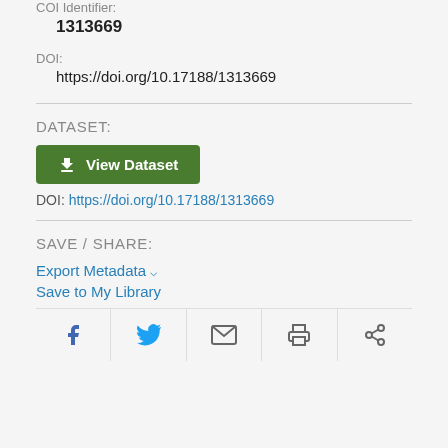COI Identifier:
1313669
DOI:
https://doi.org/10.17188/1313669
DATASET:
[Figure (other): Green 'View Dataset' button with download icon]
DOI: https://doi.org/10.17188/1313669
SAVE / SHARE:
Export Metadata
Save to My Library
[Figure (other): Social sharing icons: Facebook, Twitter, Email, Print, Share]